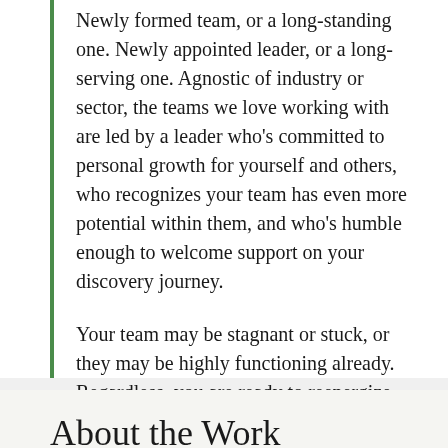Newly formed team, or a long-standing one. Newly appointed leader, or a long-serving one. Agnostic of industry or sector, the teams we love working with are led by a leader who's committed to personal growth for yourself and others, who recognizes your team has even more potential within them, and who's humble enough to welcome support on your discovery journey.
Your team may be stagnant or stuck, or they may be highly functioning already. Regardless, you are ready to reenergize and reconnect to a deeper purpose as both individuals and a cohesive team.
About the Work
Our workshops are tailored to